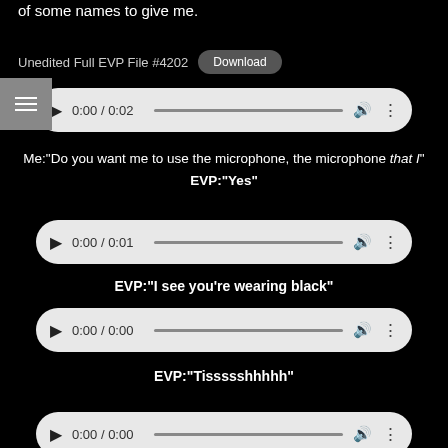of some names to give me.
Unedited Full EVP File #4202  Download
[Figure (other): Audio player showing 0:00 / 0:02]
Me:"Do you want me to use the microphone, the microphone that I"
EVP:"Yes"
[Figure (other): Audio player showing 0:00 / 0:01]
EVP:"I see you're wearing black"
[Figure (other): Audio player showing 0:00 / 0:00]
EVP:"Tissssshhhhh"
[Figure (other): Audio player partially visible at bottom]